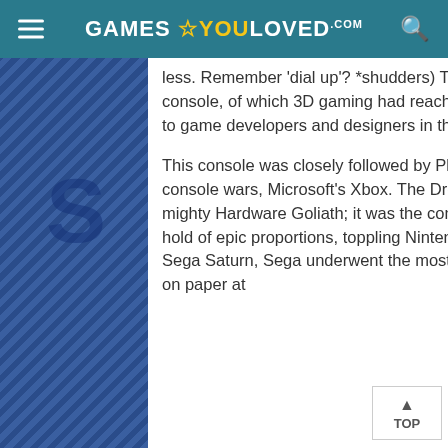GAMES YOU LOVED .com
less. Remember ‘dial up’? *shudders) The DreamCast was the first of the sixth generation of console, of which 3D gaming had reached it’s maturity and technical limitations gave more freedom to game developers and designers in the same way the previous generation once did.
This console was closely followed by Playstation 2, Nintendo GameCube & a NEW entry to the console wars, Microsoft’s Xbox. The DreamCast was most notably Sega’s last stand of a once mighty Hardware Goliath; it was the company that snuck up behind Nintendo and applied a sleeper hold of epic proportions, toppling Nintendo’s gaming monopoly. After the crushing defeat of the 32 bit Sega Saturn, Sega underwent the most dramatic reinvention yet by pushing hardware up to 128 bit, on paper at